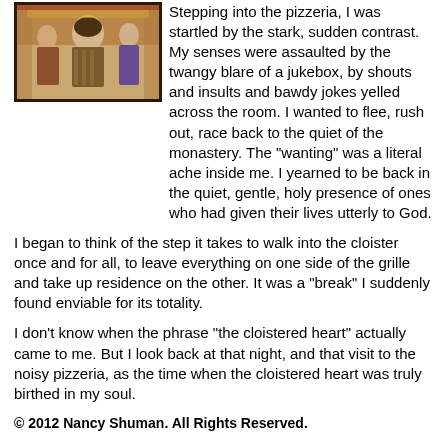[Figure (illustration): A painted illustration showing figures, appears to be a religious or medieval-style painting with warm colors.]
Stepping into the pizzeria, I was startled by the stark, sudden contrast.  My senses were assaulted by the twangy blare of a jukebox, by shouts and insults and bawdy jokes yelled across the room.  I wanted to flee, rush out, race back to the quiet of the monastery.  The "wanting" was a literal ache inside me.  I yearned to be back in the quiet, gentle, holy presence of ones who had given their lives utterly to God.
I began to think of the step it takes to walk into the cloister once and for all, to leave everything on one side of the grille and take up residence on the other.  It was a "break" I suddenly found enviable for its totality.
I don't know when the phrase "the cloistered heart" actually came to me.  But I look back at that night, and that visit to the noisy pizzeria, as the time when the cloistered heart was truly birthed in my soul.
© 2012 Nancy Shuman.  All Rights Reserved.